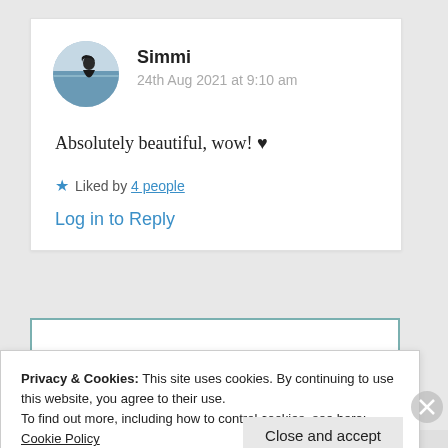[Figure (photo): Circular avatar photo of user Simmi showing a person by the sea]
Simmi
24th Aug 2021 at 9:10 am
Absolutely beautiful, wow! ♥
★ Liked by 4 people
Log in to Reply
Privacy & Cookies: This site uses cookies. By continuing to use this website, you agree to their use.
To find out more, including how to control cookies, see here: Cookie Policy
Close and accept